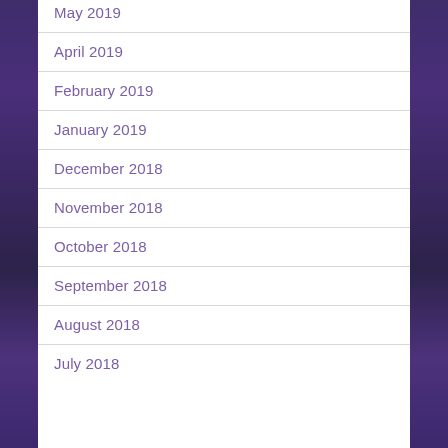May 2019
April 2019
February 2019
January 2019
December 2018
November 2018
October 2018
September 2018
August 2018
July 2018